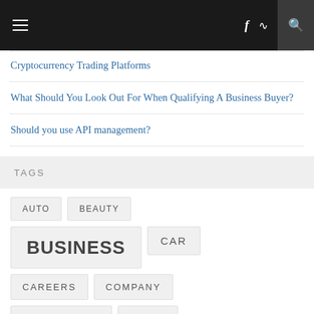Navigation bar with hamburger menu, social icons (f, RSS), and search
Cryptocurrency Trading Platforms
What Should You Look Out For When Qualifying A Business Buyer?
Should you use API management?
TAGS
AUTO
BEAUTY
BUSINESS
CAR
CAREERS
COMPANY
CREDIT CARD
CRIME